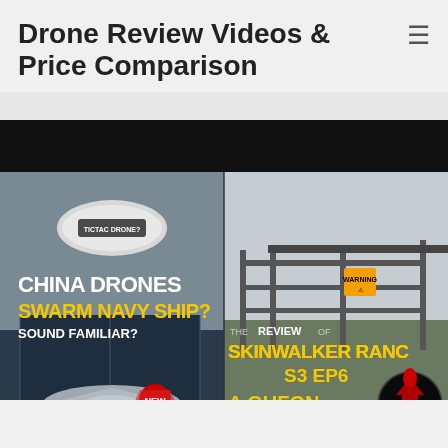Drone Review Videos & Price Comparison
[Figure (screenshot): YouTube thumbnail collage showing two video thumbnails side by side. Left: 'CHINA DRONES SWARM NAVY SHIP? SOUND FAMILIAR?' with image of Tic Tac drone and stealth aircraft with 'NEW' badge. Right: 'THE REVIEW OF SKINWALKER RANCH S3 EP6 - A GUFON Review' with image of ranch gate and GUFON logo.]